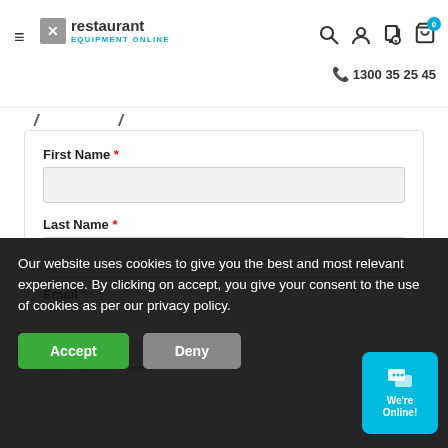Restaurant Equipment Online — 1300 35 25 45
First Name *
Last Name *
Email *
Mobile *
Our website uses cookies to give you the best and most relevant experience. By clicking on accept, you give your consent to the use of cookies as per our privacy policy.